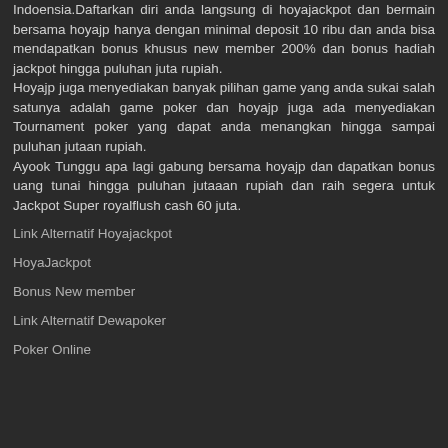Indoensia.Daftarkan diri anda langsung di hoyajackpot dan bermain bersama hoyajp hanya dengan minimal deposit 10 ribu dan anda bisa mendapatkan bonus khusus new member 200% dan bonus hadiah jackpot hingga puluhan juta rupiah.
Hoyajp juga menyediakan banyak pilihan game yang anda sukai salah satunya adalah game poker dan hoyajp juga ada menyediakan Tournament poker yang dapat anda menangkan hingga sampai puluhan jutaan rupiah.
Ayook Tunggu apa lagi gabung bersama hoyajp dan dapatkan bonus uang tunai hingga puluhan jutaaan rupiah dan raih segera untuk Jackpot Super royalflush cash 60 juta.
Link Alternatif Hoyajackpot
HoyaJackpot
Bonus New member
Link Alternatif Dewapoker
Poker Online